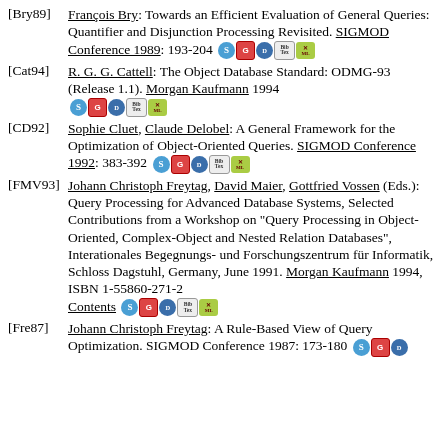[Bry89] François Bry: Towards an Efficient Evaluation of General Queries: Quantifier and Disjunction Processing Revisited. SIGMOD Conference 1989: 193-204
[Cat94] R. G. G. Cattell: The Object Database Standard: ODMG-93 (Release 1.1). Morgan Kaufmann 1994
[CD92] Sophie Cluet, Claude Delobel: A General Framework for the Optimization of Object-Oriented Queries. SIGMOD Conference 1992: 383-392
[FMV93] Johann Christoph Freytag, David Maier, Gottfried Vossen (Eds.): Query Processing for Advanced Database Systems, Selected Contributions from a Workshop on "Query Processing in Object-Oriented, Complex-Object and Nested Relation Databases", Interationales Begegnungs- und Forschungszentrum für Informatik, Schloss Dagstuhl, Germany, June 1991. Morgan Kaufmann 1994, ISBN 1-55860-271-2 Contents
[Fre87] Johann Christoph Freytag: A Rule-Based View of Query Optimization. SIGMOD Conference 1987: 173-180